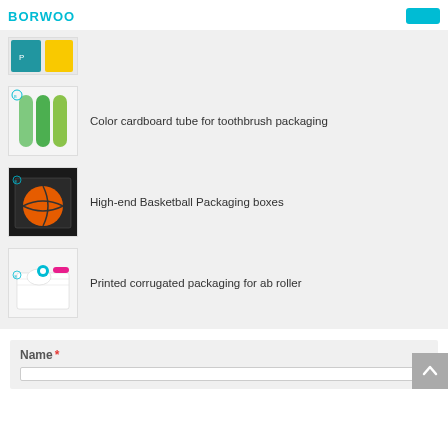BORWOO
[Figure (photo): Partial product image at top (cropped), yellow/blue packaging visible]
Color cardboard tube for toothbrush packaging
[Figure (photo): Green cardboard tubes for toothbrush packaging]
High-end Basketball Packaging boxes
[Figure (photo): Black basketball packaging box with basketball inside]
Printed corrugated packaging for ab roller
[Figure (photo): White corrugated box with ab roller product]
Name *